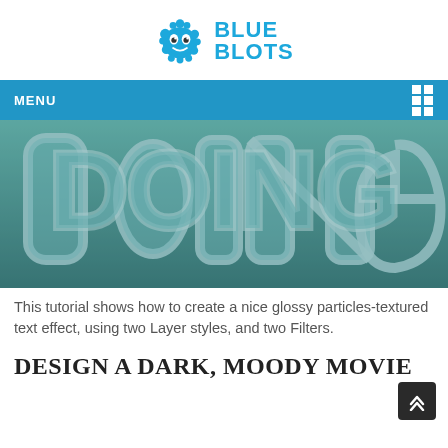[Figure (logo): Blue Blots logo with a blue splatter mascot and the text BLUE BLOTS in blue]
MENU
[Figure (photo): Photograph of glossy particle-textured bubble letters spelling DOING on a teal background]
This tutorial shows how to create a nice glossy particles-textured text effect, using two Layer styles, and two Filters.
DESIGN A DARK, MOODY MOVIE